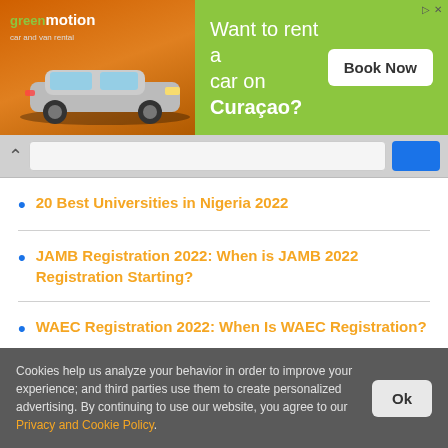[Figure (illustration): Green Motion car and van rental advertisement banner with a car on orange sunset background on the left and green background with 'Want to rent a car on Curaçao? Book Now' text on the right]
20 Best Universities in Nigeria 2022
JAMB Registration 2022: When is JAMB 2022 Registration Starting?
WAEC Registration 2022: When Is WAEC Registration?
CBN eNaira Registration Platform - How To Use eNaira to Send and Receive Money
Cookies help us analyze your behavior in order to improve your experience; and third parties use them to create personalized advertising. By continuing to use our website, you agree to our Privacy and Cookie Policy.